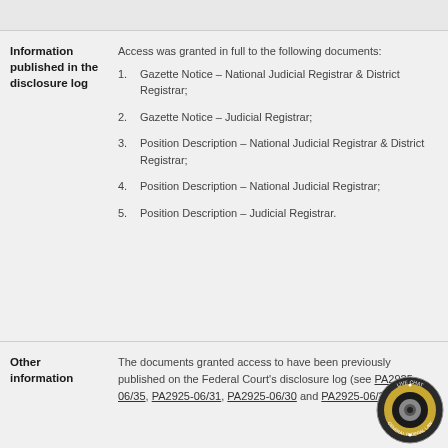Information published in the disclosure log
Access was granted in full to the following documents:
1. Gazette Notice – National Judicial Registrar & District Registrar;
2. Gazette Notice – Judicial Registrar;
3. Position Description – National Judicial Registrar & District Registrar;
4. Position Description – National Judicial Registrar;
5. Position Description – Judicial Registrar.
Other information
The documents granted access to have been previously published on the Federal Court's disclosure log (see PA2925-06/35, PA2925-06/31, PA2925-06/30 and PA2925-06/22).